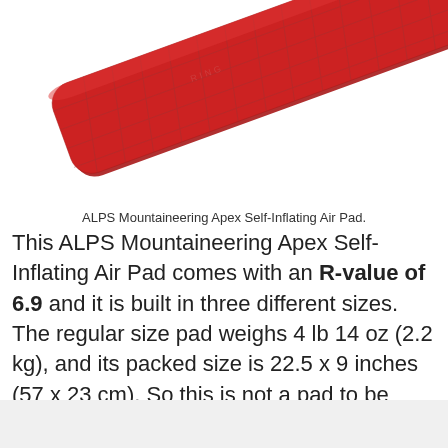[Figure (photo): A red ALPS Mountaineering Apex Self-Inflating Air Pad shown diagonally against a white background, displaying a quilted diamond texture surface.]
ALPS Mountaineering Apex Self-Inflating Air Pad.
This ALPS Mountaineering Apex Self-Inflating Air Pad comes with an R-value of 6.9 and it is built in three different sizes. The regular size pad weighs 4 lb 14 oz (2.2 kg), and its packed size is 22.5 x 9 inches (57 x 23 cm). So this is not a pad to be carried on the trail.